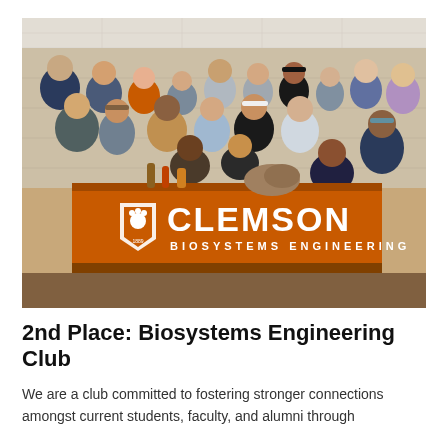[Figure (photo): Group photo of Clemson Biosystems Engineering Club students posed in front of an orange table banner reading 'CLEMSON BIOSYSTEMS ENGINEERING'. Approximately 20 students of various ages in a classroom or meeting room setting.]
2nd Place: Biosystems Engineering Club
We are a club committed to fostering stronger connections amongst current students, faculty, and alumni through